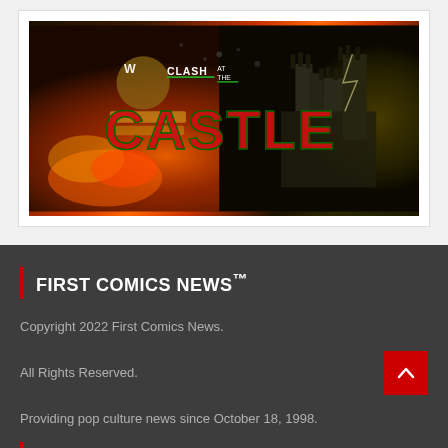[Figure (photo): WWE Clash at the Castle event promotional poster showing a wrestler holding championship belts with a castle in the background, fiery explosions, text reads 'W Clash at the Castle' in large red and green letters]
FIRST COMICS NEWS™
Copyright 2022 First Comics News.
All Rights Reserved.
Providing pop culture news since October 18, 1998.
GET OVERSTREET